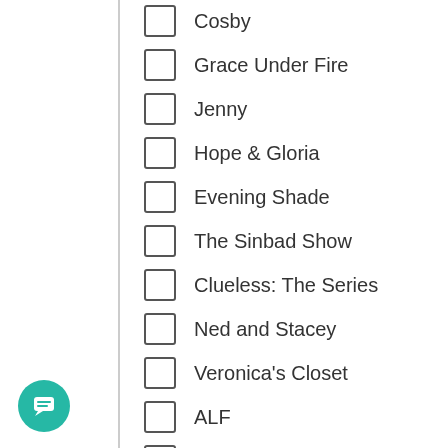Cosby
Grace Under Fire
Jenny
Hope & Gloria
Evening Shade
The Sinbad Show
Clueless: The Series
Ned and Stacey
Veronica's Closet
ALF
Dilbert
The Jeff Foxworthy Show
The John Larroquette Show